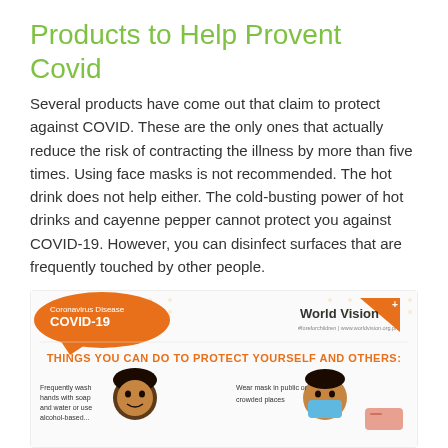Products to Help Provent Covid
Several products have come out that claim to protect against COVID. These are the only ones that actually reduce the risk of contracting the illness by more than five times. Using face masks is not recommended. The hot drink does not help either. The cold-busting power of hot drinks and cayenne pepper cannot protect you against COVID-19. However, you can disinfect surfaces that are frequently touched by other people.
[Figure (infographic): World Vision COVID-19 infographic showing 'Coronavirus Disease COVID-19' in an orange speech bubble, World Vision logo top right, text 'THINGS YOU CAN DO TO PROTECT YOURSELF AND OTHERS:' in orange, and illustrations of two children with captions about hand washing and wearing masks.]